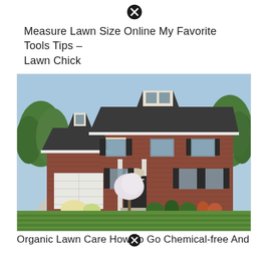Measure Lawn Size Online My Favorite Tools Tips – Lawn Chick
[Figure (photo): A large two-story red brick colonial-style house with a white garage door, multiple dormers, and a well-manicured green front lawn with mowed stripes. Trees and landscaping with flowers visible around the house.]
Organic Lawn Care How To Go Chemical-free And